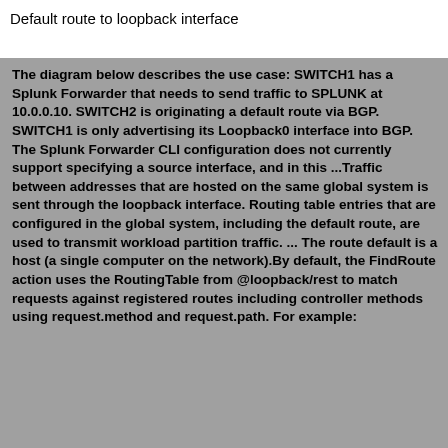Default route to loopback interface
The diagram below describes the use case: SWITCH1 has a Splunk Forwarder that needs to send traffic to SPLUNK at 10.0.0.10. SWITCH2 is originating a default route via BGP. SWITCH1 is only advertising its Loopback0 interface into BGP. The Splunk Forwarder CLI configuration does not currently support specifying a source interface, and in this ...Traffic between addresses that are hosted on the same global system is sent through the loopback interface. Routing table entries that are configured in the global system, including the default route, are used to transmit workload partition traffic. ... The route default is a host (a single computer on the network).By default, the FindRoute action uses the RoutingTable from @loopback/rest to match requests against registered routes including controller methods using request.method and request.path. For example: